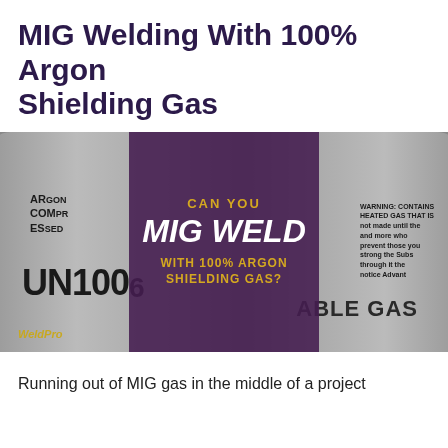MIG Welding With 100% Argon Shielding Gas
[Figure (photo): Grayscale photo of argon gas cylinders with labels showing 'ARGON COMPRESSED' and 'UN1006', overlaid with a dark purple box containing text 'CAN YOU MIG WELD WITH 100% ARGON SHIELDING GAS?' in gold and white lettering, with a 'WeldingPros' brand logo in yellow at bottom left.]
Running out of MIG gas in the middle of a project